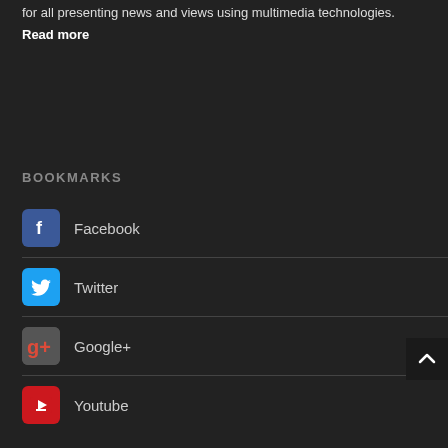for all presenting news and views using multimedia technologies.
Read more
BOOKMARKS
Facebook
Twitter
Google+
Youtube